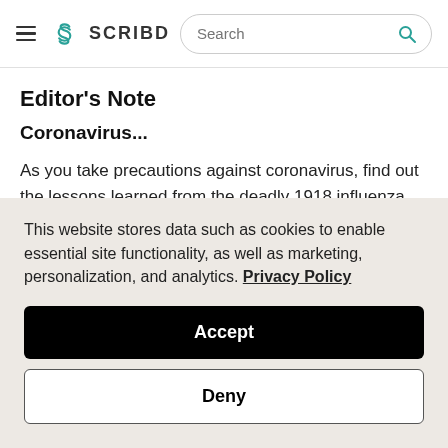SCRIBD [Search bar]
Editor's Note
Coronavirus...
As you take precautions against coronavirus, find out the lessons learned from the deadly 1918 influenza pandemic. More than a quarter of the world's population contracted this strain of flu during World War I. Such large infections disease...
This website stores data such as cookies to enable essential site functionality, as well as marketing, personalization, and analytics. Privacy Policy
Accept
Deny